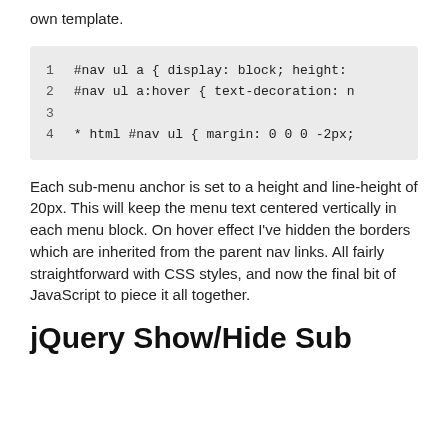own template.
1 #nav ul a { display: block; height:
2 #nav ul a:hover { text-decoration: n
3
4 * html #nav ul { margin: 0 0 0 -2px;
Each sub-menu anchor is set to a height and line-height of 20px. This will keep the menu text centered vertically in each menu block. On hover effect I've hidden the borders which are inherited from the parent nav links. All fairly straightforward with CSS styles, and now the final bit of JavaScript to piece it all together.
jQuery Show/Hide Sub